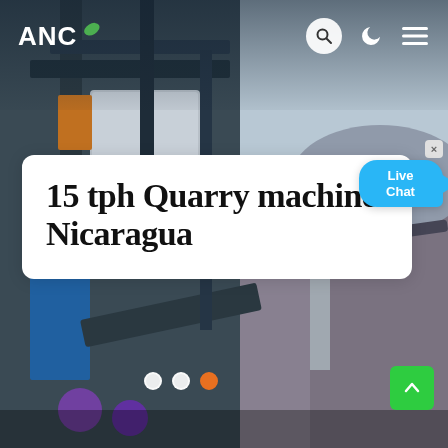[Figure (photo): Background photo of quarry machinery and equipment, with industrial metal frames and structures visible on the left side, and a rocky quarry landscape on the right side.]
ANC
15 tph Quarry machine Nicaragua
[Figure (illustration): Live Chat speech bubble widget with blue rounded rectangle and 'Live Chat' text, with a close (×) button.]